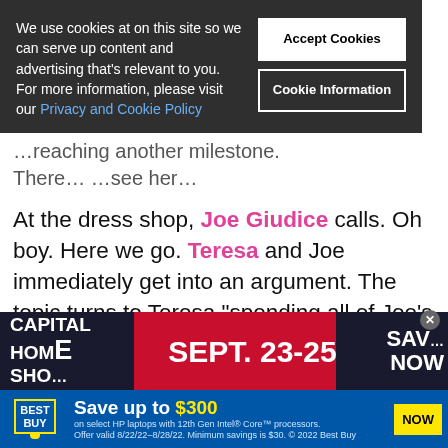We use cookies at on this site so we can serve up content and advertising that's relevant to you. For more information, please visit our Privacy and Cookie Policy
At the dress shop, Joe Giudice calls. Oh boy. Here we go. Teresa and Joe immediately get into an argument. The topic turns to Teresa “spending all of Joe’s money”.
Is Joe serious? Teresa is making all of the money right now. You’ve been in prison for like four years, so calm down. Joe wants her to cut him a break, but does he really deserve it?
[Figure (screenshot): Capital Home Show advertisement banner: 'CAPITAL HOME SHO...' with 'SEPT. 23-25' in center and 'SAV... NOW' on right, red and dark blue background]
[Figure (screenshot): Best Buy advertisement: 'Save up to $300 on select HP laptops with 12th Gen Intel Core processors' with blue background and yellow NOW button]